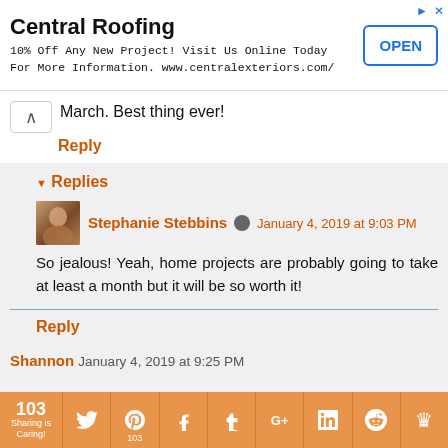[Figure (screenshot): Advertisement banner for Central Roofing with OPEN button]
March. Best thing ever!
Reply
Replies
Stephanie Stebbins  January 4, 2019 at 9:03 PM
So jealous! Yeah, home projects are probably going to take at least a month but it will be so worth it!
Reply
Shannon  January 4, 2019 at 9:25 PM
[Figure (screenshot): Social sharing bar with Twitter, Pinterest (103), Facebook, Tumblr, Google+, LinkedIn, Reddit, and crown icon. Count: 103 Sharing is Caring!]